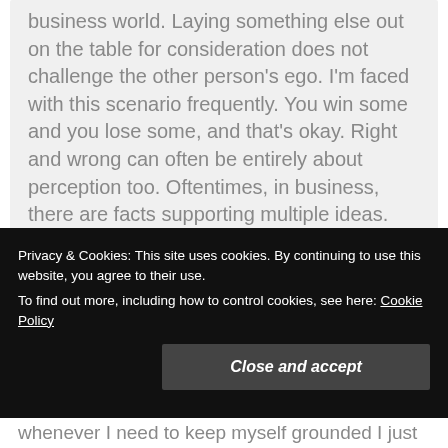business world. Laying something else out on the table for consideration does not challenge the other person's ego. I'm faced with this scenario frequently. You win some and you lose some, and that's okay. Right and wrong can often be entirely about perception too. Oftentimes, in business, there are facts supporting multiple ideas.
★ Loading...
Privacy & Cookies: This site uses cookies. By continuing to use this website, you agree to their use. To find out more, including how to control cookies, see here: Cookie Policy
Close and accept
whenever I need to keep myself grounded I just